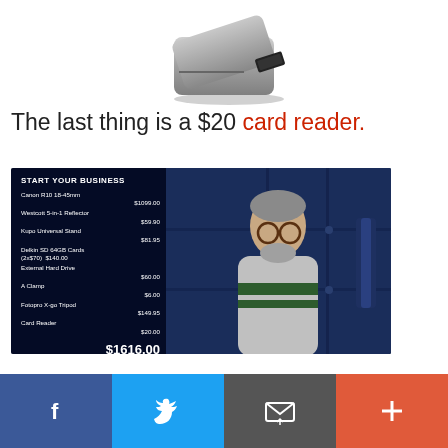[Figure (photo): USB card reader product photo on white background]
The last thing is a $20 card reader.
[Figure (screenshot): Video screenshot showing a man in a sweater with a business startup gear list overlay. List includes: Canon R10 18-45mm $1099.00, Westcott 5-in-1 Reflector $59.90, Kupo Universal Stand $81.95, Delkin SD 64GB Cards (2x$70) $140.00, External Hard Drive $60.00, A Clamp $6.00, Fotopro X-go Tripod $149.95, Card Reader $20.00, Total $1616.00]
Facebook | Twitter | Email | More